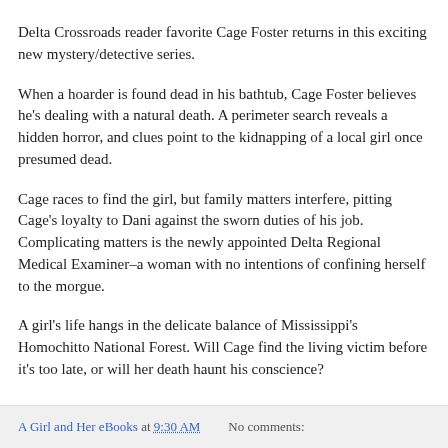Delta Crossroads reader favorite Cage Foster returns in this exciting new mystery/detective series.
When a hoarder is found dead in his bathtub, Cage Foster believes he's dealing with a natural death. A perimeter search reveals a hidden horror, and clues point to the kidnapping of a local girl once presumed dead.
Cage races to find the girl, but family matters interfere, pitting Cage's loyalty to Dani against the sworn duties of his job. Complicating matters is the newly appointed Delta Regional Medical Examiner–a woman with no intentions of confining herself to the morgue.
A girl's life hangs in the delicate balance of Mississippi's Homochitto National Forest. Will Cage find the living victim before it's too late, or will her death haunt his conscience?
A Girl and Her eBooks at 9:30 AM   No comments: